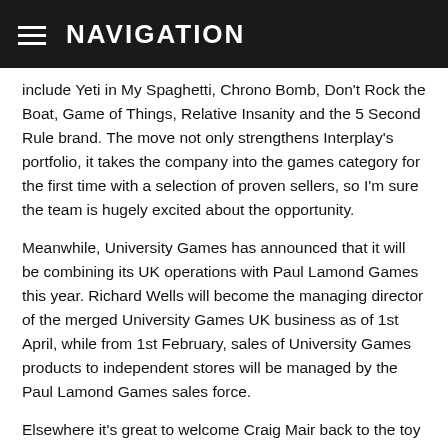NAVIGATION
include Yeti in My Spaghetti, Chrono Bomb, Don't Rock the Boat, Game of Things, Relative Insanity and the 5 Second Rule brand. The move not only strengthens Interplay's portfolio, it takes the company into the games category for the first time with a selection of proven sellers, so I'm sure the team is hugely excited about the opportunity.
Meanwhile, University Games has announced that it will be combining its UK operations with Paul Lamond Games this year. Richard Wells will become the managing director of the merged University Games UK business as of 1st April, while from 1st February, sales of University Games products to independent stores will be managed by the Paul Lamond Games sales force.
Elsewhere it's great to welcome Craig Mair back to the toy market, having taken up a position with Wizards of the Coast managing EU sales, while news reached me just before Christmas that Simba Smoby has acquired Jada Toys. I'm sure I'll hear plenty more interesting snippets of news as I pound the mean streets of TST over the next few days, before the official